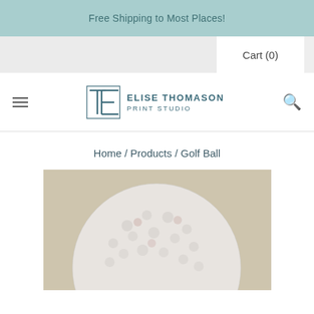Free Shipping to Most Places!
Cart (0)
[Figure (logo): Elise Thomason Print Studio logo with stylized TE monogram and text]
Home / Products / Golf Ball
[Figure (photo): Golf ball artwork on tan/beige background, showing top portion of a detailed golf ball illustration]